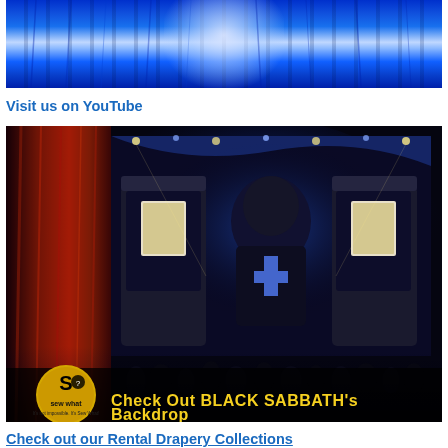[Figure (photo): Blue theatrical curtain or draping fabric with bright white-blue spotlight in the center, giving a stage/performance backdrop feel]
Visit us on YouTube
[Figure (photo): Concert stage photo showing Black Sabbath performance with red curtain drape on left, large video screen showing a performer wearing a cross, atmospheric blue stage lighting. Overlay text reads 'Check Out BLACK SABBATH's Backdrop' with a 'Sew What?' logo in lower left.]
Check out our Rental Drapery Collections